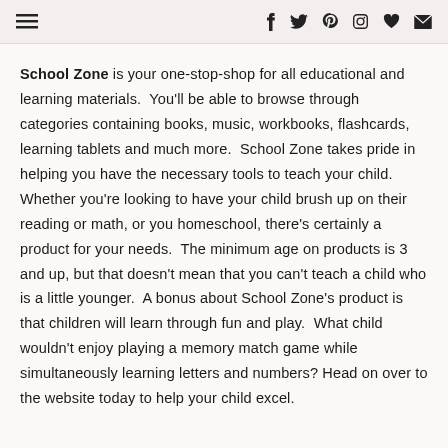Navigation header with menu icon and social icons: f, twitter, pinterest, instagram, heart, email
School Zone is your one-stop-shop for all educational and learning materials.  You'll be able to browse through categories containing books, music, workbooks, flashcards, learning tablets and much more.  School Zone takes pride in helping you have the necessary tools to teach your child.  Whether you're looking to have your child brush up on their reading or math, or you homeschool, there's certainly a product for your needs.  The minimum age on products is 3 and up, but that doesn't mean that you can't teach a child who is a little younger.  A bonus about School Zone's product is that children will learn through fun and play.  What child wouldn't enjoy playing a memory match game while simultaneously learning letters and numbers? Head on over to the website today to help your child excel.